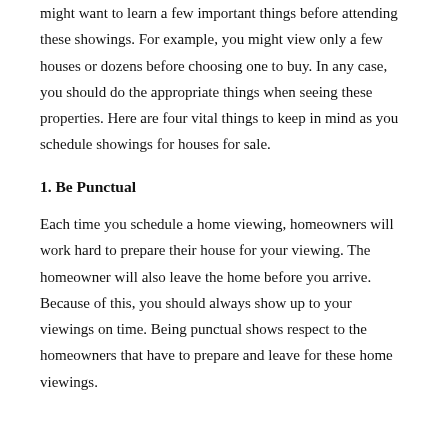might want to learn a few important things before attending these showings. For example, you might view only a few houses or dozens before choosing one to buy. In any case, you should do the appropriate things when seeing these properties. Here are four vital things to keep in mind as you schedule showings for houses for sale.
1. Be Punctual
Each time you schedule a home viewing, homeowners will work hard to prepare their house for your viewing. The homeowner will also leave the home before you arrive. Because of this, you should always show up to your viewings on time. Being punctual shows respect to the homeowners that have to prepare and leave for these home viewings.